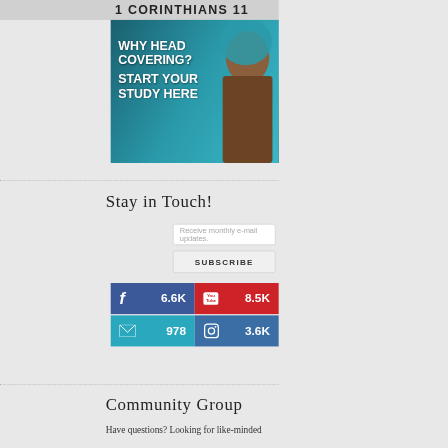[Figure (screenshot): Partial top banner showing '1 CORINTHIANS 11' text]
[Figure (photo): Woman with teal/turquoise head covering, praying, with text overlay: 'WHY HEAD COVERING? START YOUR STUDY HERE']
Stay in Touch!
Receive monthly e-mail updates.
SUBSCRIBE
[Figure (infographic): Social media follower counts: Facebook 6.6K, YouTube 8.5K, Email 978, Instagram 3.6K]
Community Group
Have questions? Looking for like-minded